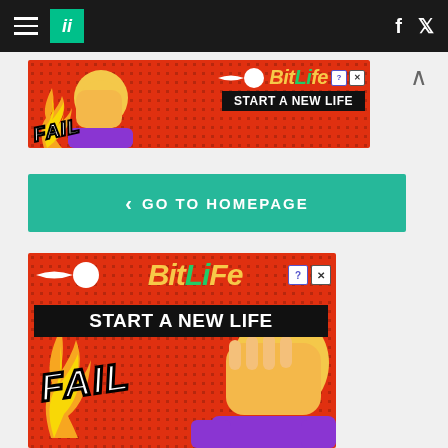Huffington Post navigation bar with hamburger menu, logo, Facebook and Twitter icons
[Figure (illustration): BitLife advertisement banner: red dotted background, cartoon blonde woman facepalming, FAIL text, sperm logo, BitLife logo in yellow/green italic font, START A NEW LIFE black banner, close and question mark buttons]
< GO TO HOMEPAGE
[Figure (illustration): BitLife advertisement large banner: red dotted background, sperm logo, BitLife logo in large yellow/green italic font, START A NEW LIFE black banner, FAIL text, cartoon blonde woman facepalming with purple shirt, flames, close and question mark buttons]